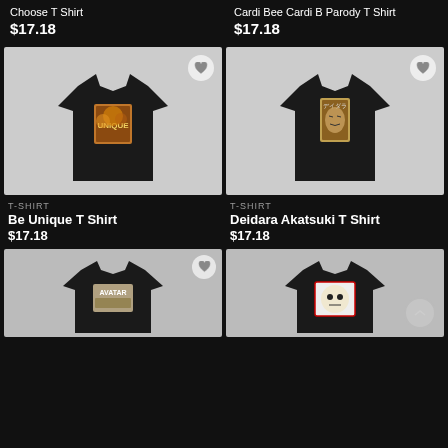Choose T Shirt
$17.18
Cardi Bee Cardi B Parody T Shirt
$17.18
[Figure (photo): Black t-shirt with colorful 'Be Unique' graphic print on front, on a hanger against light background]
T-SHIRT
Be Unique T Shirt
$17.18
[Figure (photo): Black t-shirt with Deidara Akatsuki anime graphic print on front, on a hanger against light background]
T-SHIRT
Deidara Akatsuki T Shirt
$17.18
[Figure (photo): Black t-shirt with Avatar graphic print on front, on a hanger against light background]
[Figure (photo): Black t-shirt with manga-style graphic print on front, on a hanger against light background]